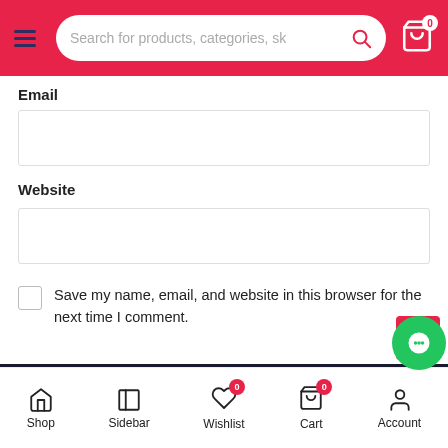Search for products, categories, sk
Email
Website
Save my name, email, and website in this browser for the next time I comment.
POST COMMENT
Shop | Sidebar | Wishlist 0 | Cart 0 | Account